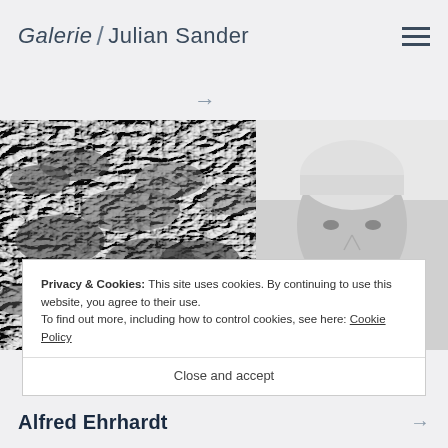Galerie / Julian Sander
[Figure (photo): Black and white photograph of rippled water surface or sand patterns with strong texture]
[Figure (photo): Black and white portrait photograph of an older man with white hair wearing a dark jacket]
Privacy & Cookies: This site uses cookies. By continuing to use this website, you agree to their use.
To find out more, including how to control cookies, see here: Cookie Policy
Close and accept
Alfred Ehrhardt